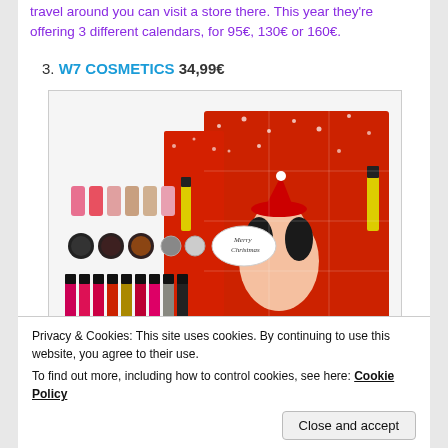travel around you can visit a store there. This year they're offering 3 different calendars, for 95€, 130€ or 160€.
3. W7 COSMETICS 34,99€
[Figure (photo): W7 Cosmetics advent calendar product photo showing an open red Christmas-themed box with cosmetics items including lip glosses, eyeshadows, nail polishes, and mascara displayed in front.]
Privacy & Cookies: This site uses cookies. By continuing to use this website, you agree to their use.
To find out more, including how to control cookies, see here: Cookie Policy
Close and accept